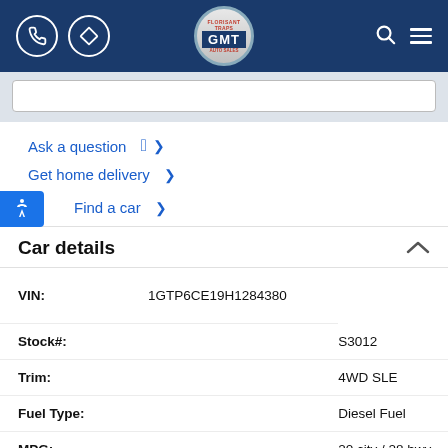GMT Auto Sales header with phone icon, directions icon, GMT logo, search icon, menu icon
Ask a question
Get home delivery
Find a car
Car details
| Field | Value |
| --- | --- |
| VIN: | 1GTP6CE19H1284380 |
| Stock#: | S3012 |
| Trim: | 4WD SLE |
| Fuel Type: | Diesel Fuel |
| MPG: | 20 city / 28 hwy |